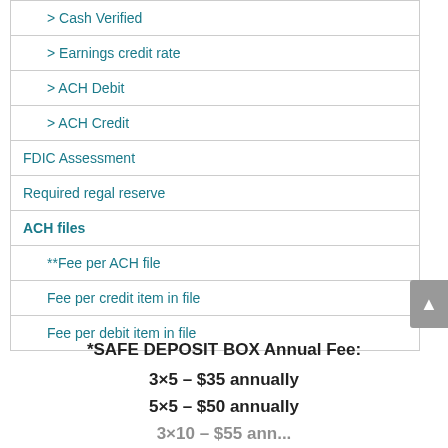| > Cash Verified |
| > Earnings credit rate |
| > ACH Debit |
| > ACH Credit |
| FDIC Assessment |
| Required regal reserve |
| ACH files |
| **Fee per ACH file |
| Fee per credit item in file |
| Fee per debit item in file |
*SAFE DEPOSIT BOX Annual Fee:
3×5 – $35 annually
5×5 – $50 annually
3×10 – $55 annually